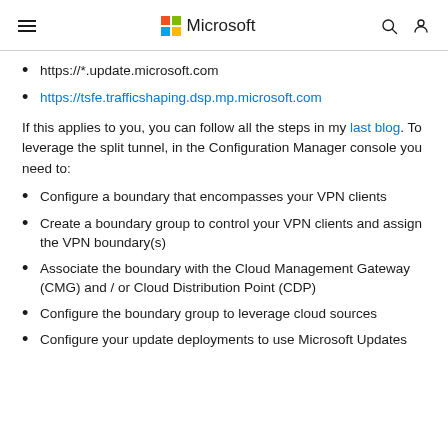Microsoft
https://*.update.microsoft.com
https://tsfe.trafficshaping.dsp.mp.microsoft.com
If this applies to you, you can follow all the steps in my last blog. To leverage the split tunnel, in the Configuration Manager console you need to:
Configure a boundary that encompasses your VPN clients
Create a boundary group to control your VPN clients and assign the VPN boundary(s)
Associate the boundary with the Cloud Management Gateway (CMG) and / or Cloud Distribution Point (CDP)
Configure the boundary group to leverage cloud sources
Configure your update deployments to use Microsoft Updates